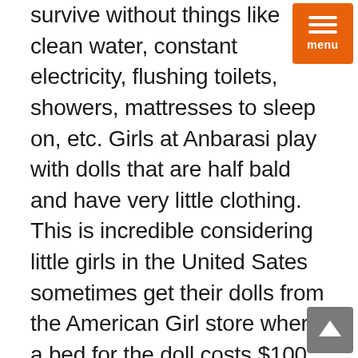survive without things like clean water, constant electricity, flushing toilets, showers, mattresses to sleep on, etc. Girls at Anbarasi play with dolls that are half bald and have very little clothing. This is incredible considering little girls in the United Sates sometimes get their dolls from the American Girl store where a bed for the doll costs $100. Until one sees what true poverty actually is, it is completely unimaginable. When my family came to the United States from Russia, we were considered a low-income family. Five of us lived in